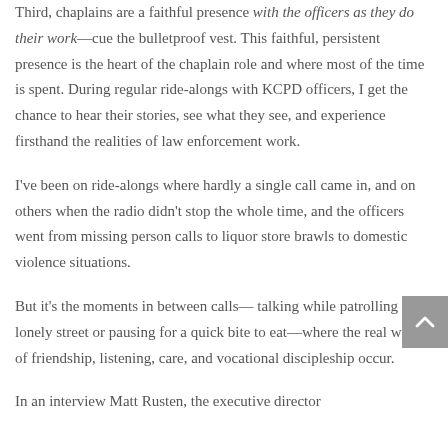Third, chaplains are a faithful presence with the officers as they do their work—cue the bulletproof vest. This faithful, persistent presence is the heart of the chaplain role and where most of the time is spent. During regular ride-alongs with KCPD officers, I get the chance to hear their stories, see what they see, and experience firsthand the realities of law enforcement work.
I've been on ride-alongs where hardly a single call came in, and on others when the radio didn't stop the whole time, and the officers went from missing person calls to liquor store brawls to domestic violence situations.
But it's the moments in between calls— talking while patrolling a lonely street or pausing for a quick bite to eat—where the real work of friendship, listening, care, and vocational discipleship occur.
In an interview Matt Rusten, the executive director